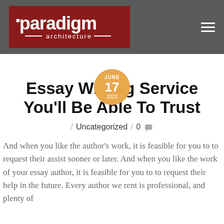[Figure (logo): Paradigm Architecture logo on dark grey header bar with hamburger menu icon]
[Figure (infographic): Orange circular date badge showing JUNE 17 2022]
Essay Writing Service You'll Be Able To Trust
/ Uncategorized / 0 [comment icon]
And when you like the author's work, it is feasible for you to to request their assist sooner or later. And when you like the work of your essay author, it is feasible for you to to request their help in the future. Every author we rent is professional, and plenty of